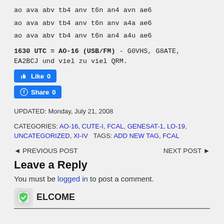ao ava abv tb4 anv t6n an4 avn ae6
ao ava abv tb4 anv t6n anv a4a ae6
ao ava abv tb4 anv t6n an4 a4u ae6
1630 UTC = AO-16 (USB/FM) - G0VHS, G8ATE, EA2BCJ und viel zu viel QRM.
[Figure (screenshot): Facebook Like button showing count 0]
[Figure (screenshot): Facebook Share button showing count 0]
UPDATED: Monday, July 21, 2008
CATEGORIES: AO-16, CUTE-I, FCAL, GENESAT-1, LO-19, UNCATEGORIZED, XI-IV   TAGS: ADD NEW TAG, FCAL
◄ PREVIOUS POST    NEXT POST ►
Leave a Reply
You must be logged in to post a comment.
ELCOME